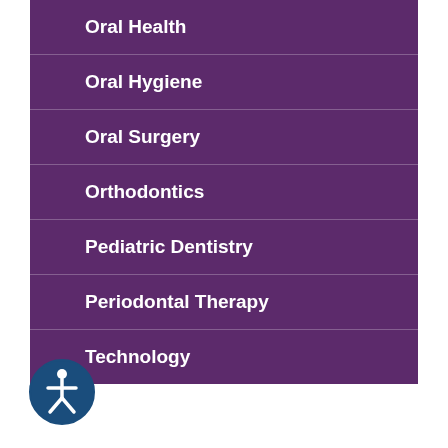Oral Health
Oral Hygiene
Oral Surgery
Orthodontics
Pediatric Dentistry
Periodontal Therapy
Technology
[Figure (logo): Accessibility icon — circular dark blue border with white figure of a person inside]